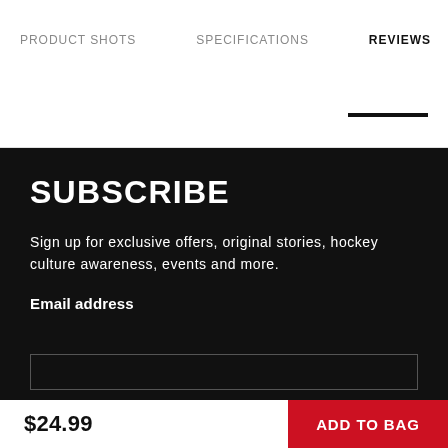PRODUCT SHOTS   SPECIFICATIONS   REVIEWS
SUBSCRIBE
Sign up for exclusive offers, original stories, hockey culture awareness, events and more.
Email address
$24.99
ADD TO BAG